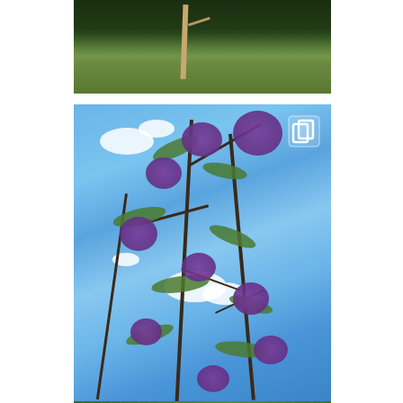[Figure (photo): Bare young tree with white/pale trunk on a grassy hill with dark green forest in the background]
[Figure (photo): Jacaranda tree branches with clusters of purple/violet flowers against a bright blue sky with white clouds. A copy/duplicate icon appears in the upper right corner of the image.]
[Figure (photo): Close-up of green tropical foliage with narrow elongated leaves]